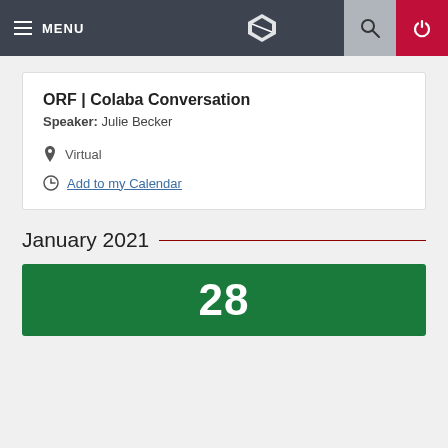MENU
ORF | Colaba Conversation
Speaker: Julie Becker
Virtual
Add to my Calendar
January 2021
28